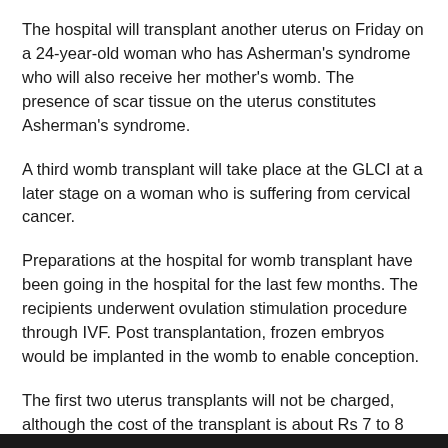The hospital will transplant another uterus on Friday on a 24-year-old woman who has Asherman's syndrome who will also receive her mother's womb. The presence of scar tissue on the uterus constitutes Asherman's syndrome.
A third womb transplant will take place at the GLCI at a later stage on a woman who is suffering from cervical cancer.
Preparations at the hospital for womb transplant have been going in the hospital for the last few months. The recipients underwent ovulation stimulation procedure through IVF. Post transplantation, frozen embryos would be implanted in the womb to enable conception.
The first two uterus transplants will not be charged, although the cost of the transplant is about Rs 7 to 8 lakhs.